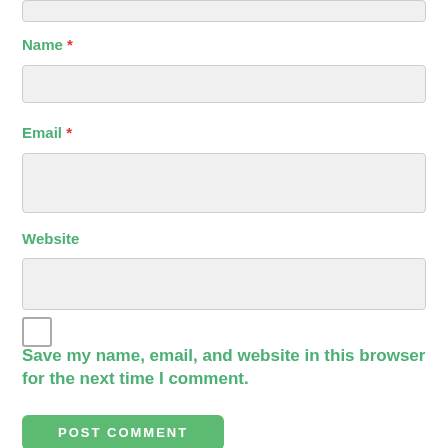(top input box partial)
Name *
Email *
Website
Save my name, email, and website in this browser for the next time I comment.
POST COMMENT